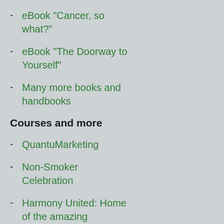eBook "Cancer, so what?"
eBook "The Doorway to Yourself"
Many more books and handbooks
Courses and more
QuantuMarketing
Non-Smoker Celebration
Harmony United: Home of the amazing Harmony Technology